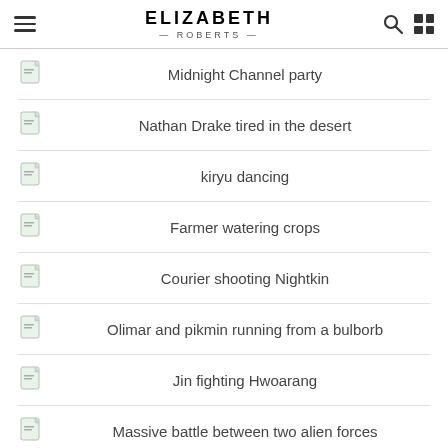ELIZABETH ROBERTS
Midnight Channel party
Nathan Drake tired in the desert
kiryu dancing
Farmer watering crops
Courier shooting Nightkin
Olimar and pikmin running from a bulborb
Jin fighting Hwoarang
Massive battle between two alien forces
Big Daddy drilling
Niko shooting at a helicopter
Characters looking up at stars